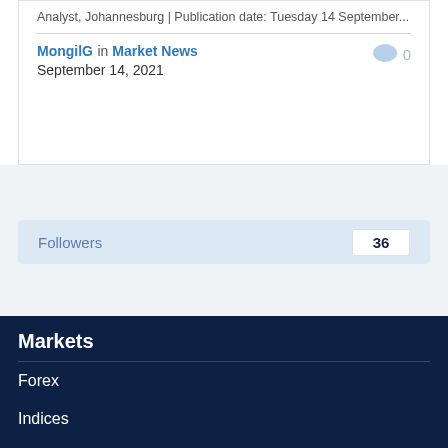Analyst, Johannesburg | Publication date: Tuesday 14 September...
MongilG in Market News
September 14, 2021
Followers 36
Markets
Forex
Indices
Shares
Other markets